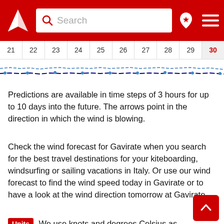Search [header with logo and navigation]
[Figure (other): Horizontal date navigation strip showing dates 21 through 30, with 30 highlighted in red. Below is a wind/wave chart strip with blue and dark blue dashed lines across the full width.]
Predictions are available in time steps of 3 hours for up to 10 days into the future. The arrows point in the direction in which the wind is blowing.
Check the wind forecast for Gavirate when you search for the best travel destinations for your kiteboarding, windsurfing or sailing vacations in Italy. Or use our wind forecast to find the wind speed today in Gavirate or to have a look at the wind direction tomorrow at Gavirate.
Units  We use knots and degrees Celsius as our default units. These units are often used by sailors, kiters, surfers, windsurfers and paragliders. Use website settings to switch between units and 7 different languages at any time. For converting between wind speed units such as knots, km/h (kilometers per hour), m/s (m per second), and mph (miles per hour) use our wind speed calculator.